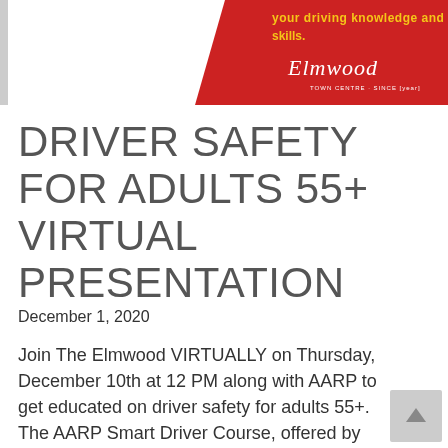[Figure (illustration): Banner image with red background and white diagonal stripe on left. Yellow text reads 'your driving knowledge and skills.' Elmwood logo in white script on the right side.]
DRIVER SAFETY FOR ADULTS 55+ VIRTUAL PRESENTATION
December 1, 2020
Join The Elmwood VIRTUALLY on Thursday, December 10th at 12 PM along with AARP to get educated on driver safety for adults 55+. The AARP Smart Driver Course, offered by AARP Driver Safety, is the nation's largest refresher course